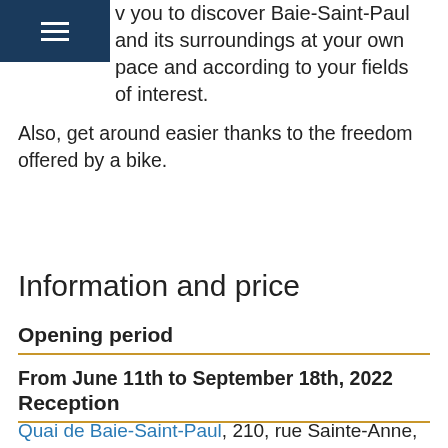routes along the Gouffre Valley allow you to discover Baie-Saint-Paul and its surroundings at your own pace and according to your fields of interest.
Also, get around easier thanks to the freedom offered by a bike.
Information and price
Opening period
From June 11th to September 18th, 2022
Reception
Quai de Baie-Saint-Paul, 210, rue Sainte-Anne, Baie-Saint-Paul, G3Z 1R8